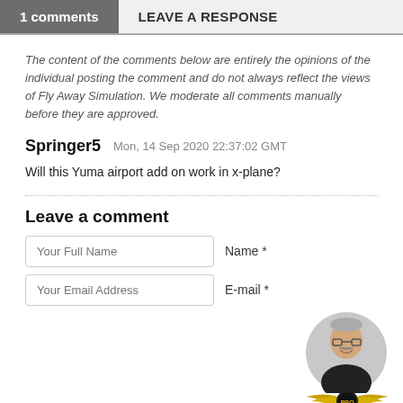1 comments
LEAVE A RESPONSE
The content of the comments below are entirely the opinions of the individual posting the comment and do not always reflect the views of Fly Away Simulation. We moderate all comments manually before they are approved.
Springer5   Mon, 14 Sep 2020 22:37:02 GMT
Will this Yuma airport add on work in x-plane?
Leave a comment
Your Full Name   Name *
Your Email Address   E-mail *